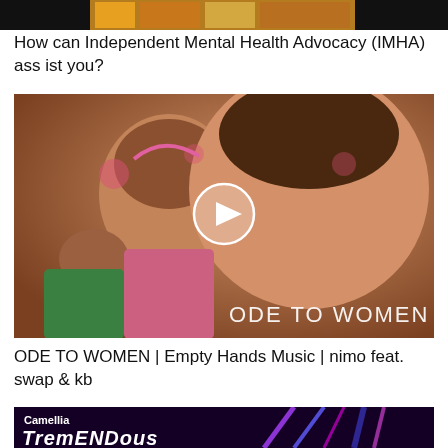[Figure (photo): Partial top strip of a colorful image with black bars on left and right]
How can Independent Mental Health Advocacy (IMHA) assist you?
[Figure (photo): Video thumbnail of smiling women with flowers, overlaid with text ODE TO WOMEN and a play button icon]
ODE TO WOMEN | Empty Hands Music | nimo feat. swap & kb
[Figure (photo): Bottom strip of a dark purple/black graphic with neon lights and text: Camellia, TremENDous]